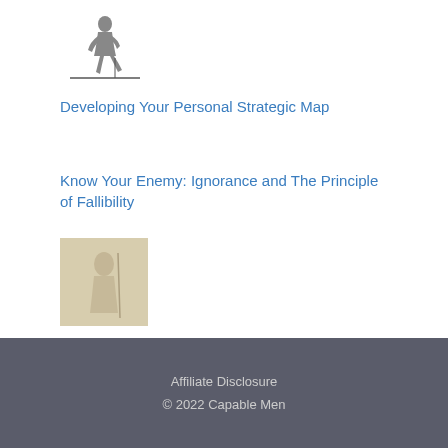[Figure (illustration): Small black and white illustration of a person sitting, with a horizontal line beneath them (logo/header image)]
Developing Your Personal Strategic Map
Know Your Enemy: Ignorance and The Principle of Fallibility
[Figure (illustration): Small square thumbnail image showing a faded vintage-style illustration of a person, beige/tan tones]
Radical Self-Improvement
Affiliate Disclosure
© 2022 Capable Men